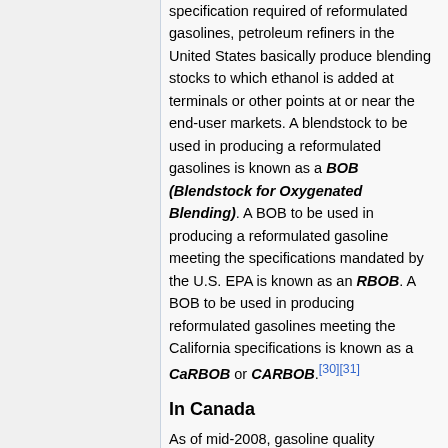specification required of reformulated gasolines, petroleum refiners in the United States basically produce blending stocks to which ethanol is added at terminals or other points at or near the end-user markets. A blendstock to be used in producing a reformulated gasolines is known as a BOB (Blendstock for Oxygenated Blending). A BOB to be used in producing a reformulated gasoline meeting the specifications mandated by the U.S. EPA is known as an RBOB. A BOB to be used in producing reformulated gasolines meeting the California specifications is known as a CaRBOB or CARBOB.[30][31]
In Canada
As of mid-2008, gasoline quality regulations in Canada is generally based...